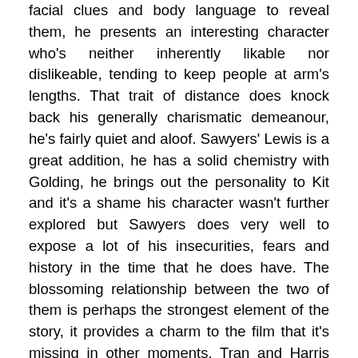facial clues and body language to reveal them, he presents an interesting character who's neither inherently likable nor dislikeable, tending to keep people at arm's lengths. That trait of distance does knock back his generally charismatic demeanour, he's fairly quiet and aloof. Sawyers' Lewis is a great addition, he has a solid chemistry with Golding, he brings out the personality to Kit and it's a shame his character wasn't further explored but Sawyers does very well to expose a lot of his insecurities, fears and history in the time that he does have. The blossoming relationship between the two of them is perhaps the strongest element of the story, it provides a charm to the film that it's missing in other moments. Tran and Harris get small roles but they both certainly have something to add to the story, helping Kit to explore his past and pumping up the film's personality a little.